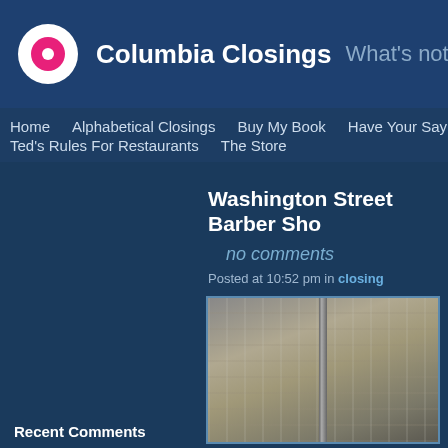Columbia Closings — What's not in Columbia a…
Home | Alphabetical Closings | Buy My Book | Have Your Say | Miss… | Ted's Rules For Restaurants | The Store
Washington Street Barber Sho…
no comments
Posted at 10:52 pm in closing
[Figure (photo): Photo of a brick or stone building facade with a vertical architectural element]
Recent Comments